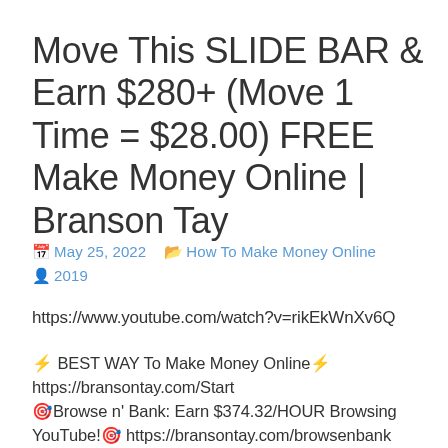Move This SLIDE BAR & Earn $280+ (Move 1 Time = $28.00) FREE Make Money Online | Branson Tay
May 25, 2022   How To Make Money Online
2019
https://www.youtube.com/watch?v=rikEkWnXv6Q
⚡ BEST WAY To Make Money Online⚡ https://bransontay.com/Start
🎯Browse n' Bank: Earn $374.32/HOUR Browsing YouTube!🎯 https://bransontay.com/browsenbank
💰 Earn $2.50 Over & Over By Clicking On Websites 💰 https://bransontay.com/clickypay